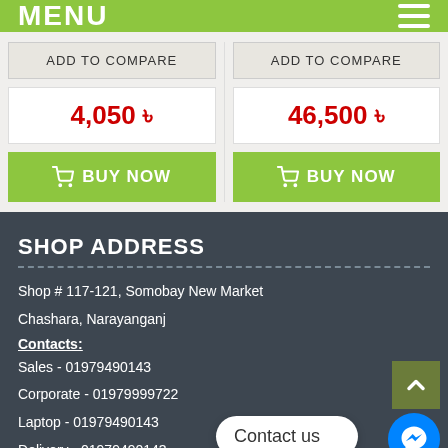MENU
ADD TO COMPARE
ADD TO COMPARE
4,050 ৳
46,500 ৳
BUY NOW
BUY NOW
SHOP ADDRESS
Shop # 117-121, Somobay New Market
Chashara, Narayanganj
Contacts:
Sales - 01979490143
Corporate - 01979999722
Laptop - 01979490143
Delivery - 01979490143
Contact us